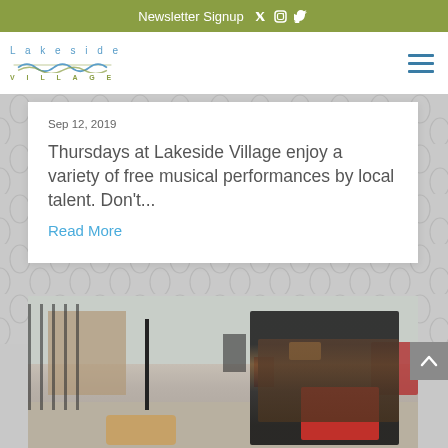Newsletter Signup
[Figure (logo): Lakeside Village logo with wave graphic and text]
Sep 12, 2019
Thursdays at Lakeside Village enjoy a variety of free musical performances by local talent. Don't...
Read More
[Figure (photo): Woman smiling and shopping on a street with a small dog, holding a coffee cup and red shopping bags]